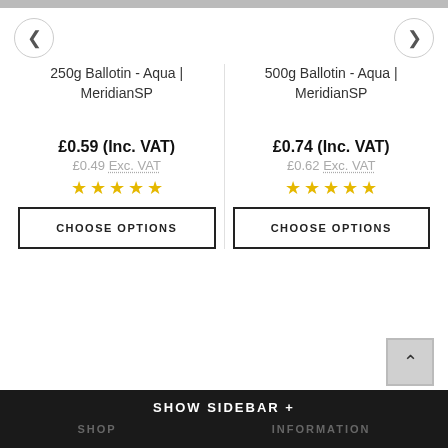250g Ballotin - Aqua | MeridianSP
£0.59 (Inc. VAT)
£0.49 (Exc. VAT)
500g Ballotin - Aqua | MeridianSP
£0.74 (Inc. VAT)
£0.62 (Exc. VAT)
CHOOSE OPTIONS
CHOOSE OPTIONS
SHOW SIDEBAR +